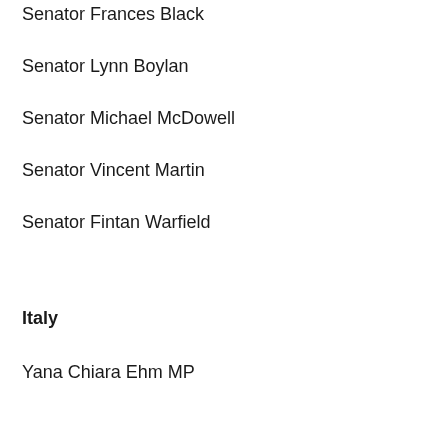Senator Frances Black
Senator Lynn Boylan
Senator Michael McDowell
Senator Vincent Martin
Senator Fintan Warfield
Italy
Yana Chiara Ehm MP